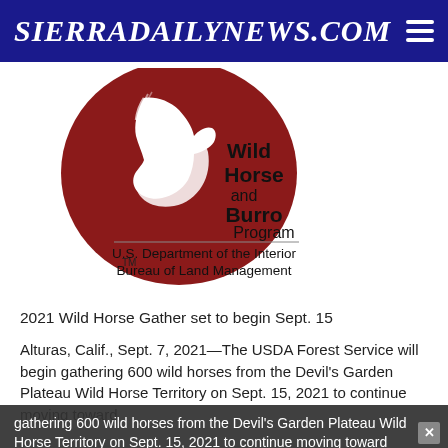SierraDailyNews.com
[Figure (logo): Wild Horse and Burro Program logo — dark red circular shape with white horse silhouette, text 'Wild Horse and Burro Program' and 'U.S. Department of the Interior Bureau of Land Management' with TM mark]
2021 Wild Horse Gather set to begin Sept. 15
Alturas, Calif., Sept. 7, 2021—The USDA Forest Service will begin gathering 600 wild horses from the Devil's Garden Plateau Wild Horse Territory on Sept. 15, 2021 to continue moving toward